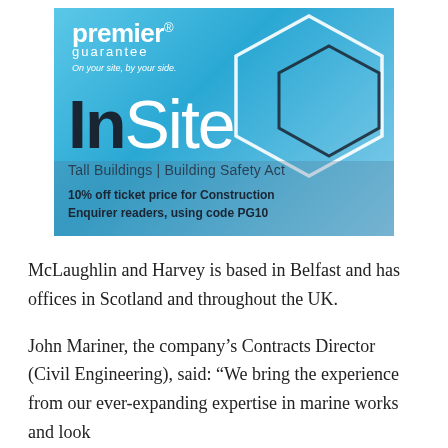[Figure (illustration): Premier Guarantee InSite advertisement banner. Light blue background with city skyline silhouette. Shows 'premier guarantee' logo with tagline 'On your site, by your side.' Large text 'InSite' with geometric hexagon outlines in top right. Subtitle 'Tall Buildings | Building Safety Act'. Offer text: '10% off ticket price for Construction Enquirer readers, using code PG10']
McLaughlin and Harvey is based in Belfast and has offices in Scotland and throughout the UK.
John Mariner, the company's Contracts Director (Civil Engineering), said: “We bring the experience from our ever-expanding expertise in marine works and look